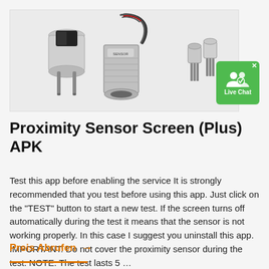[Figure (photo): Three proximity sensors on a light background: a cylindrical sensor with pins, a threaded stainless steel sensor with cable, and two small TO-92 package sensors.]
Proximity Sensor Screen (Plus) APK
Test this app before enabling the service It is strongly recommended that you test before using this app. Just click on the "TEST" button to start a new test. If the screen turns off automatically during the test it means that the sensor is not working properly. In this case I suggest you uninstall this app. IMPORTANT: Do not cover the proximity sensor during the test. NOTE: The test lasts 5 …
Preis Abrufen →